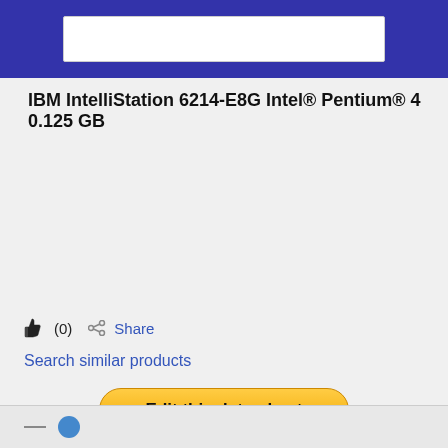IBM IntelliStation 6214-E8G Intel® Pentium® 4 0.125 GB
👍 (0)  Share
Search similar products
Edit this data-sheet